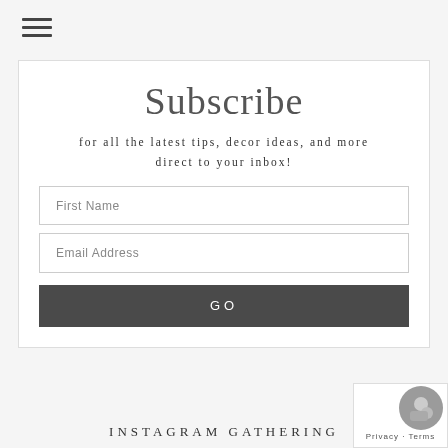[Figure (other): Hamburger menu icon (three horizontal lines)]
Subscribe
for all the latest tips, decor ideas, and more direct to your inbox!
First Name
Email Address
GO
INSTAGRAM GATHERING
[Figure (other): Privacy badge with reCAPTCHA icon and Privacy - Terms text]